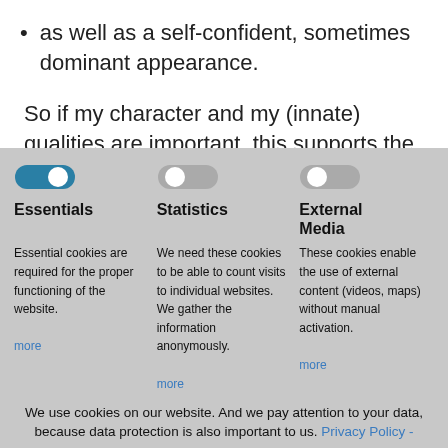as well as a self-confident, sometimes dominant appearance.
So if my character and my (innate) qualities are important, this supports the self-image as a
[Figure (screenshot): Cookie consent overlay with three toggle switches for Essentials (on), Statistics (off), and External Media (off), with descriptions of each cookie type and 'more' links.]
We use cookies on our website. And we pay attention to your data, because data protection is also important to us. Privacy Policy -